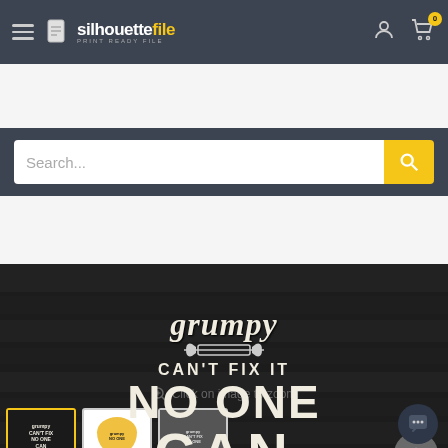[Figure (screenshot): Website header navigation bar with hamburger menu, silhouettefile logo, user icon and cart icon with badge '0']
[Figure (screenshot): Search bar with placeholder text 'Search...' and yellow search button]
[Figure (illustration): Product image on dark background showing text: 'grumpy CAN'T FIX IT NO ONE CAN' with wrench graphics and file format bar showing SVG | PNG | EPS | PDF | DXF]
Click on image to zoom
[Figure (screenshot): Three product thumbnail images at the bottom of the page]